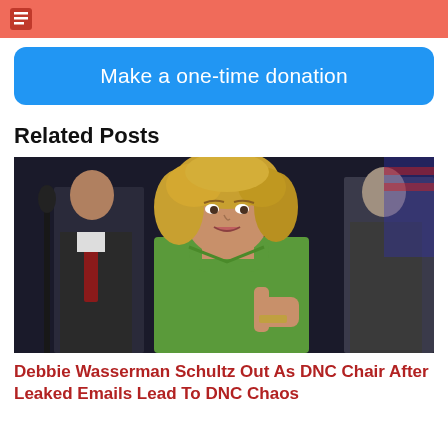[Figure (other): Salmon/coral colored header bar with small icon]
Make a one-time donation
Related Posts
[Figure (photo): Photo of Debbie Wasserman Schultz in a green jacket speaking at a podium, with two men in suits in the background]
Debbie Wasserman Schultz Out As DNC Chair After Leaked Emails Lead To DNC Chaos